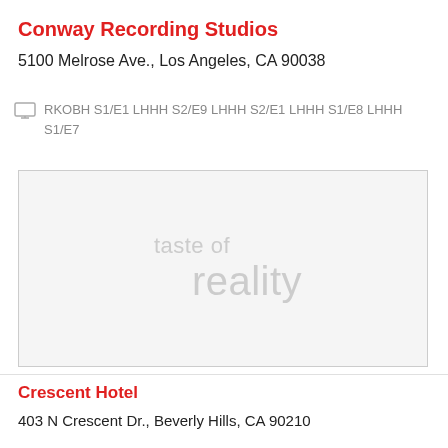Conway Recording Studios
5100 Melrose Ave., Los Angeles, CA 90038
RKOBH S1/E1 LHHH S2/E9 LHHH S2/E1 LHHH S1/E8 LHHH S1/E7
[Figure (illustration): Placeholder image with watermark text 'taste of reality' in light gray]
Crescent Hotel
403 N Crescent Dr., Beverly Hills, CA 90210